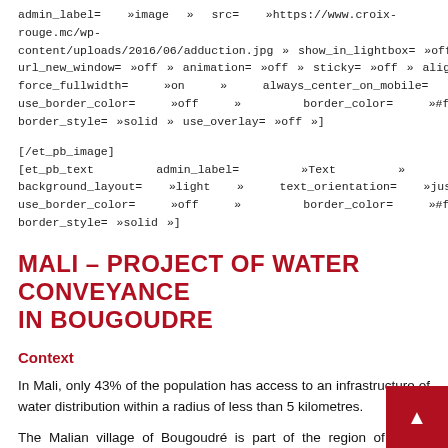admin_label= »image » src= »https://www.croix-rouge.mc/wp-content/uploads/2016/06/adduction.jpg » show_in_lightbox= »off » url_new_window= »off » animation= »off » sticky= »off » align= »left » force_fullwidth= »on » always_center_on_mobile= »on » use_border_color= »off » border_color= »#ffffff » border_style= »solid » use_overlay= »off »]
[/et_pb_image][et_pb_text admin_label= »Text » background_layout= »light » text_orientation= »justified » use_border_color= »off » border_color= »#ffffff » border_style= »solid »]
MALI – PROJECT OF WATER CONVEYANCE IN BOUGOUDRE
Context
In Mali, only 43% of the population has access to an infrastructure of water distribution within a radius of less than 5 kilometres.
The Malian village of Bougoudré is part of the region of Kayes region, with a Sahelian-type climate, is regularly confronto water shortages. Presently, the supply of drinking water in the